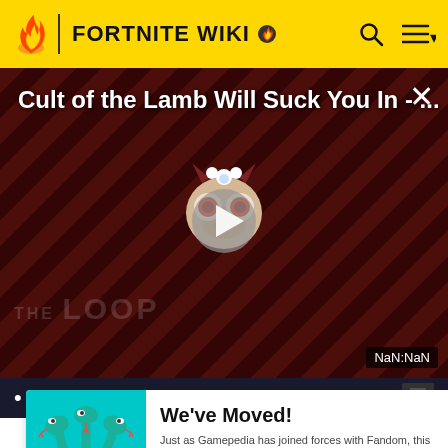FORTNITE WIKI
Cult of the Lamb Will Suck You In - ...
[Figure (screenshot): Video thumbnail showing a cartoon character with red eyes on a dark diagonal striped background, with a play button in the center. THE LOOP text visible at bottom. NaN:NaN timer badge at bottom right.]
Charge Shotgun and Kit's Charge Shotgun Uncharq
[Figure (infographic): We've Moved! banner with teal background on left showing a three-headed snake cartoon. Right side shows text: 'We've Moved! Just as Gamepedia has joined forces with Fandom, this wiki has joined forces with our Fandom equivalent. The wiki has been archived and we ask that readers and editors move to the new combined wiki on Fandom.' with a GO TO NEW WIKI button.]